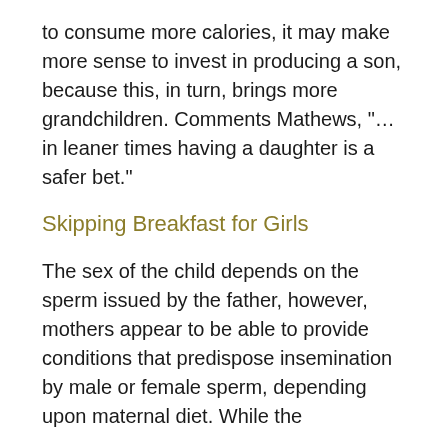to consume more calories, it may make more sense to invest in producing a son, because this, in turn, brings more grandchildren. Comments Mathews, "…in leaner times having a daughter is a safer bet."
Skipping Breakfast for Girls
The sex of the child depends on the sperm issued by the father, however, mothers appear to be able to provide conditions that predispose insemination by male or female sperm, depending upon maternal diet. While the